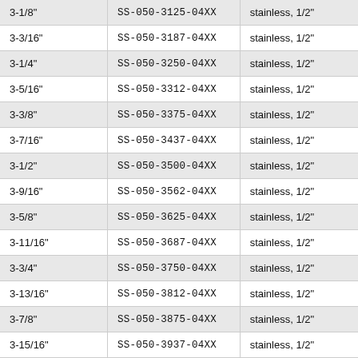| 3-1/8" | SS-050-3125-04XX | stainless, 1/2" |
| 3-3/16" | SS-050-3187-04XX | stainless, 1/2" |
| 3-1/4" | SS-050-3250-04XX | stainless, 1/2" |
| 3-5/16" | SS-050-3312-04XX | stainless, 1/2" |
| 3-3/8" | SS-050-3375-04XX | stainless, 1/2" |
| 3-7/16" | SS-050-3437-04XX | stainless, 1/2" |
| 3-1/2" | SS-050-3500-04XX | stainless, 1/2" |
| 3-9/16" | SS-050-3562-04XX | stainless, 1/2" |
| 3-5/8" | SS-050-3625-04XX | stainless, 1/2" |
| 3-11/16" | SS-050-3687-04XX | stainless, 1/2" |
| 3-3/4" | SS-050-3750-04XX | stainless, 1/2" |
| 3-13/16" | SS-050-3812-04XX | stainless, 1/2" |
| 3-7/8" | SS-050-3875-04XX | stainless, 1/2" |
| 3-15/16" | SS-050-3937-04XX | stainless, 1/2" |
| 4" | SS-050-4000-04XX | stainless, 1/2" |